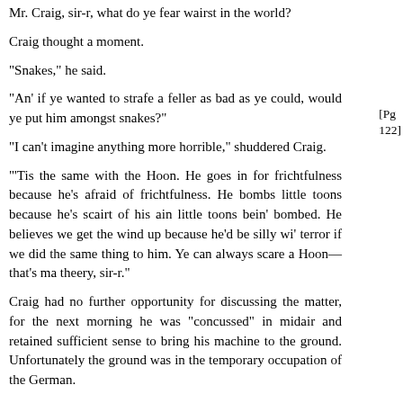Mr. Craig, sir-r, what do ye fear wairst in the world?
Craig thought a moment.
"Snakes," he said.
"An' if ye wanted to strafe a feller as bad as ye could, would ye put him amongst snakes?"
"I can't imagine anything more horrible," shuddered Craig.
[Pg 122]
"'Tis the same with the Hoon. He goes in for frichtfulness because he's afraid of frichtfulness. He bombs little toons because he's scairt of his ain little toons bein' bombed. He believes we get the wind up because he'd be silly wi' terror if we did the same thing to him. Ye can always scare a Hoon—that's ma theery, sir-r."
Craig had no further opportunity for discussing the matter, for the next morning he was "concussed" in midair and retained sufficient sense to bring his machine to the ground. Unfortunately the ground was in the temporary occupation of the German.
So Craig went philosophically into bondage.